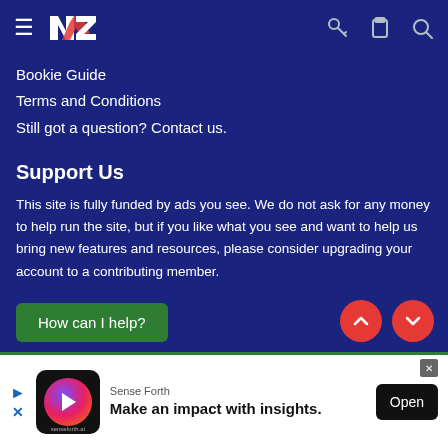NZ [navigation bar with hamburger menu, NZ logo, key icon, clipboard icon, search icon]
Bookie Guide
Terms and Conditions
Still got a question? Contact us.
Support Us
This site is fully funded by ads you see. We do not ask for any money to help run the site, but if you like what you see and want to help us bring new features and resources, please consider upgrading your account to a contributing member.
How can I help?
[Figure (screenshot): Advertisement banner: Sense Forth - Make an impact with insights. With app logo, Open button, close X button, and play/X navigation icons.]